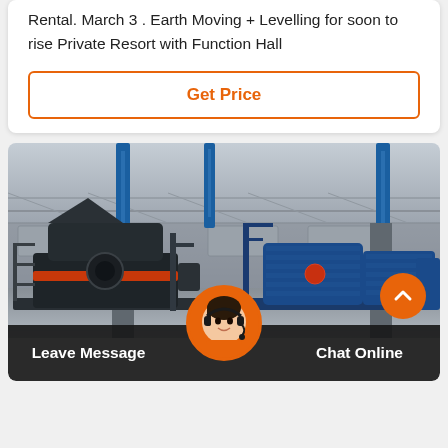Rental. March 3 . Earth Moving + Levelling for soon to rise Private Resort with Function Hall
Get Price
[Figure (photo): Factory floor with industrial crushing machines — a large black VSI crusher on the left and blue industrial motor/crusher units on the right, inside a large industrial warehouse with steel truss ceiling and blue signage banners.]
Leave Message
Chat Online